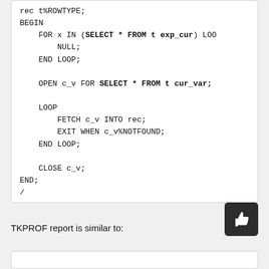rec t%ROWTYPE;
BEGIN
    FOR x IN (SELECT * FROM t exp_cur) LOO
        NULL;
    END LOOP;

    OPEN c_v FOR SELECT * FROM t cur_var;

    LOOP
        FETCH c_v INTO rec;
        EXIT WHEN c_v%NOTFOUND;
    END LOOP;

    CLOSE c_v;
END;
/
TKPROF report is similar to: